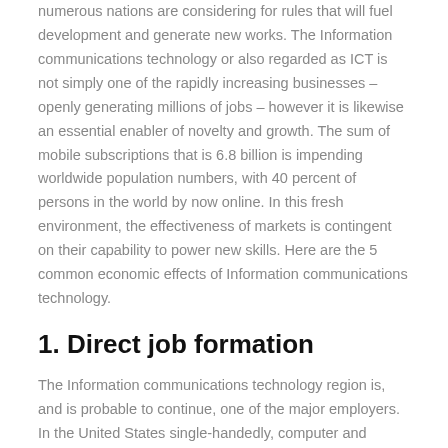numerous nations are considering for rules that will fuel development and generate new works. The Information communications technology or also regarded as ICT is not simply one of the rapidly increasing businesses – openly generating millions of jobs – however it is likewise an essential enabler of novelty and growth. The sum of mobile subscriptions that is 6.8 billion is impending worldwide population numbers, with 40 percent of persons in the world by now online. In this fresh environment, the effectiveness of markets is contingent on their capability to power new skills. Here are the 5 common economic effects of Information communications technology.
1. Direct job formation
The Information communications technology region is, and is probable to continue, one of the major employers. In the United States single-handedly, computer and information technology occupations are probable to develop by 22 percent up to the year 2020, generating 758,800 new occupations. In Australia, building and running the new super-fast National Broadband Network will offer 25,000 occupations yearly. Obviously, the